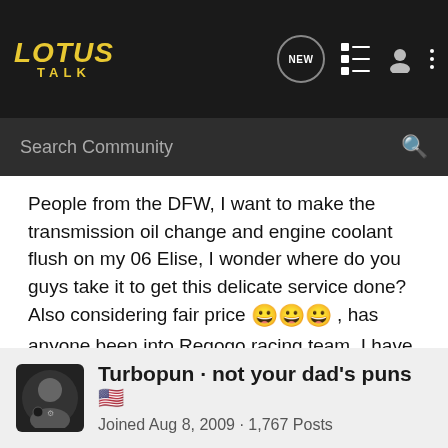LOTUS TALK
Search Community
People from the DFW, I want to make the transmission oil change and engine coolant flush on my 06 Elise, I wonder where do you guys take it to get this delicate service done? Also considering fair price 😀😀😀 , has anyone been into Regogo racing team, I have been invited there already by one of their team members, will they be a better place to take it than a dealership like Lotus of Plano or a Park place on Lemmon ave.

Cheers 😎😎
Turbopun · not your dad's puns 🇺🇸
Joined Aug 8, 2009 · 1,767 Posts